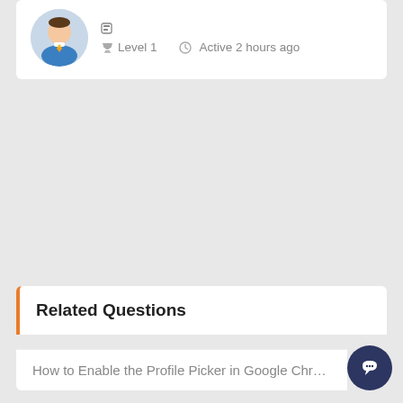[Figure (illustration): User profile card showing avatar, Level 1 badge and Active 2 hours ago status]
Related Questions
How to Enable the Profile Picker in Google Chrome?